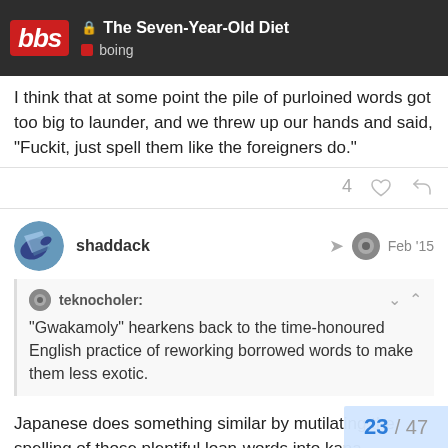The Seven-Year-Old Diet | boing
I think that at some point the pile of purloined words got too big to launder, and we threw up our hands and said, “Fuckit, just spell them like the foreigners do.”
shaddack Feb ’15
teknocholer: “Gwakamoly” hearkens back to the time-honoured English practice of reworking borrowed words to make them less exotic.
Japanese does something similar by mutilating the spelling of those plentiful loan-words into kana-compa…
23 / 47